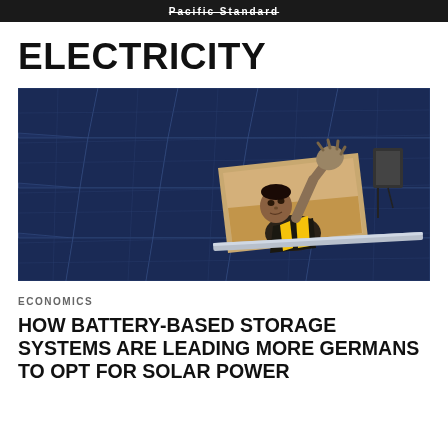Pacific Standard
ELECTRICITY
[Figure (photo): A worker installing or adjusting blue solar panels, viewed from below through a gap in the panels, wearing work gloves and reaching upward.]
ECONOMICS
HOW BATTERY-BASED STORAGE SYSTEMS ARE LEADING MORE GERMANS TO OPT FOR SOLAR POWER